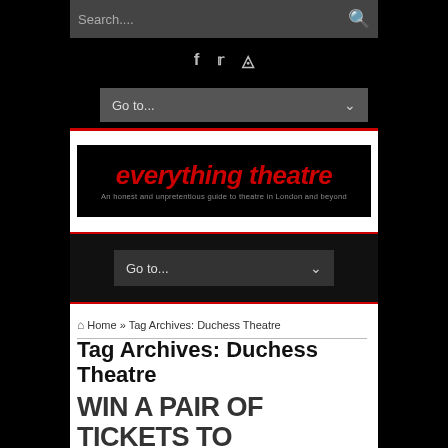Search...
f  y  (instagram icon)
Go to...
[Figure (logo): everything theatre logo - black background with red italic text 'everything theatre' and grey subtitle 'An honest and unpretentious guide to theatre in London and beyond']
Go to...
Home » Tag Archives: Duchess Theatre
Tag Archives: Duchess Theatre
WIN A PAIR OF TICKETS TO